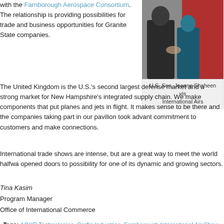with the Farnborough Aerospace Consortium. The relationship is providing possibilities for trade and business opportunities for Granite State companies.
[Figure (photo): Photo of people shaking hands, possibly at an air show event]
U.S. Sen. Jeanne Shaheen vis International Airs
The United Kingdom is the U.S.'s second largest defense market and a strong market for New Hampshire's integrated supply chain. We make components that put planes and jets in flight. It makes sense to be there and the companies taking part in our pavilion took advant commitment to customers and make connections.
International trade shows are intense, but are a great way to meet the world halfwa opened doors to possibility for one of its dynamic and growing sectors.
Tina Kasim
Program Manager
Office of International Commerce
Tags: AQYR Technologies, Corfin Industries, Farnborough International Air Show, NHADEC, Northern Composites, Transupport, US NanoS
Posted in NH Business Matters | Com
Gaining Altitude, NH Aero/Defense Companies Land in Sing
Friday, February 7th, 2014
Tweet